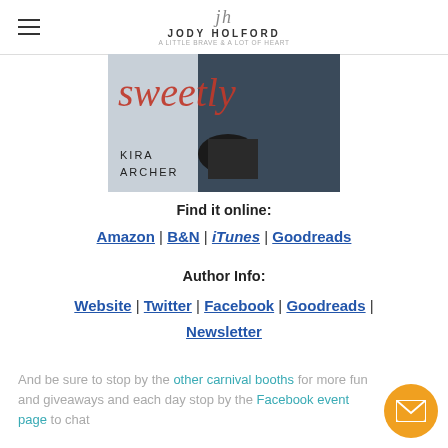Jody Holford - A little brave & a lot of heart
[Figure (photo): Book cover showing 'Sweetly' by Kira Archer - partial cover image with cursive red title text and author name]
Find it online:
Amazon | B&N | iTunes | Goodreads
Author Info:
Website | Twitter | Facebook | Goodreads | Newsletter
And be sure to stop by the other carnival booths for more fun and giveaways and each day stop by the Facebook event page to chat